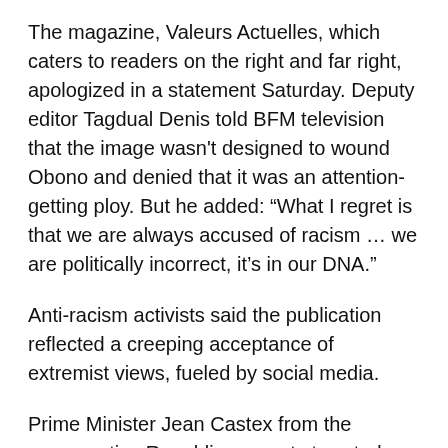The magazine, Valeurs Actuelles, which caters to readers on the right and far right, apologized in a statement Saturday. Deputy editor Tagdual Denis told BFM television that the image wasn't designed to wound Obono and denied that it was an attention-getting ploy. But he added: “What I regret is that we are always accused of racism … we are politically incorrect, it’s in our DNA.”
Anti-racism activists said the publication reflected a creeping acceptance of extremist views, fueled by social media.
Prime Minister Jean Castex from the conservative Republicans party tweeted: “This revolting publication calls for unambiguous condemnation. … The fight against racism will always transcend our differences.”
The junior minister for equality and the only Black member